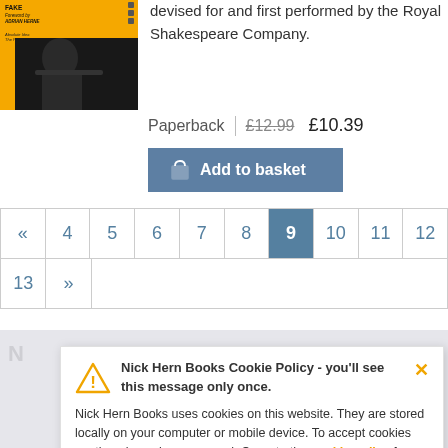[Figure (photo): Book cover with orange/yellow background and dark figure silhouette]
devised for and first performed by the Royal Shakespeare Company.
Paperback  £12.99  £10.39
Add to basket
| « | 4 | 5 | 6 | 7 | 8 | 9 | 10 | 11 | 12 |
| --- | --- | --- | --- | --- | --- | --- | --- | --- | --- |
| 13 | » |  |  |  |  |  |  |  |  |
Nick Hern Books Cookie Policy - you'll see this message only once.
Nick Hern Books uses cookies on this website. They are stored locally on your computer or mobile device. To accept cookies continue browsing as normal. Or go to the cookie policy for more information and preferences.